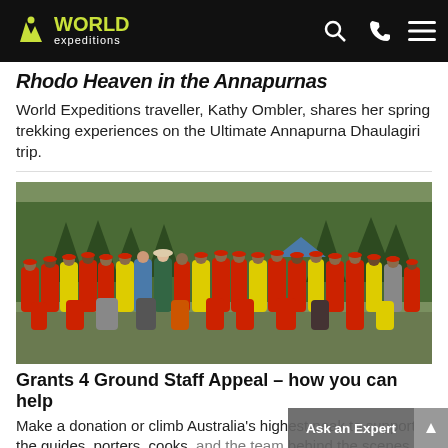World Expeditions navigation bar with logo, search, phone, and menu icons
Rhodo Heaven in the Annapurnas
World Expeditions traveller, Kathy Ombler, shares her spring trekking experiences on the Ultimate Annapurna Dhaulagiri trip.
[Figure (photo): Large group of trekking staff and porters in red and yellow uniforms posing outdoors among pine trees]
Grants 4 Ground Staff Appeal – how you can help
Make a donation or climb Australia's highest peak to support the guides, porters, cooks, and the team behind the scenes in Nepal and Peru whose livelihoods